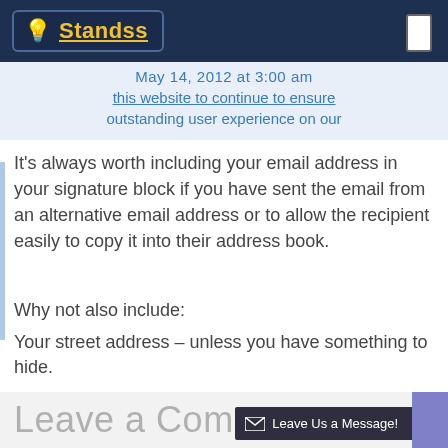Standss
May 14, 2012 at 3:00 am
It's always worth including your email address in your signature block if you have sent the email from an alternative email address or to allow the recipient easily to copy it into their address book.
Why not also include:
Your street address – unless you have something to hide.
A byline – describing your business.
Leave a Comment